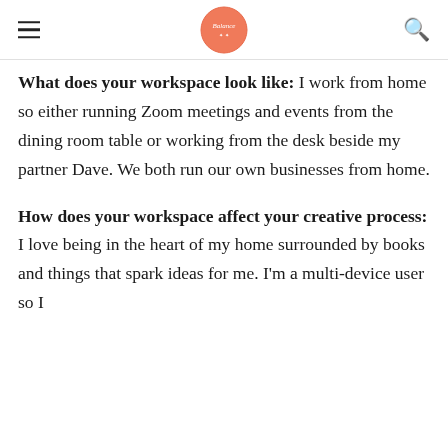Balance (logo)
What does your workspace look like: I work from home so either running Zoom meetings and events from the dining room table or working from the desk beside my partner Dave. We both run our own businesses from home.
How does your workspace affect your creative process: I love being in the heart of my home surrounded by books and things that spark ideas for me. I'm a multi-device user so I